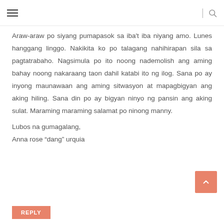≡  |  🔍
Araw-araw po siyang pumapasok sa iba't iba niyang amo. Lunes hanggang linggo. Nakikita ko po talagang nahihirapan sila sa pagtatrabaho. Nagsimula po ito noong nademolish ang aming bahay noong nakaraang taon dahil katabi ito ng ilog. Sana po ay inyong maunawaan ang aming sitwasyon at mapagbigyan ang aking hiling. Sana din po ay bigyan ninyo ng pansin ang aking sulat. Maraming maraming salamat po ninong manny.
Lubos na gumagalang,
Anna rose “dang” urquia